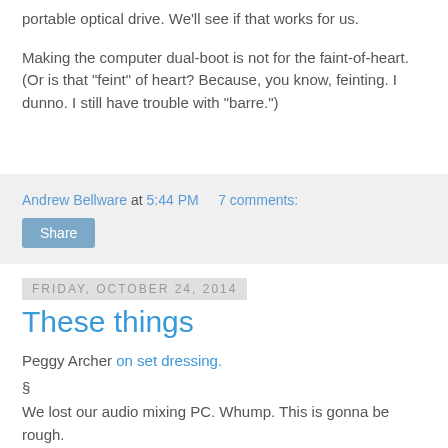portable optical drive. We'll see if that works for us.
Making the computer dual-boot is not for the faint-of-heart. (Or is that "feint" of heart? Because, you know, feinting. I dunno. I still have trouble with "barre.")
Andrew Bellware at 5:44 PM    7 comments:
Share
Friday, October 24, 2014
These things
Peggy Archer on set dressing.
§
We lost our audio mixing PC. Whump. This is gonna be rough.